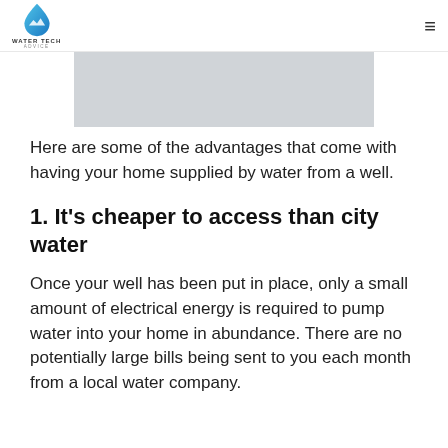WATER TECH ADVICE
[Figure (photo): Grayscale image, partially visible, appears to show a water-related scene]
Here are some of the advantages that come with having your home supplied by water from a well.
1. It’s cheaper to access than city water
Once your well has been put in place, only a small amount of electrical energy is required to pump water into your home in abundance. There are no potentially large bills being sent to you each month from a local water company.